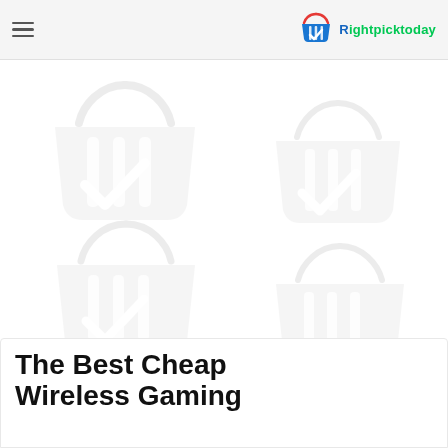Rightpicktoday
[Figure (illustration): Decorative background with four faded shopping basket icons arranged in a 2x2 grid pattern on a white background]
The Best Cheap Wireless Gaming